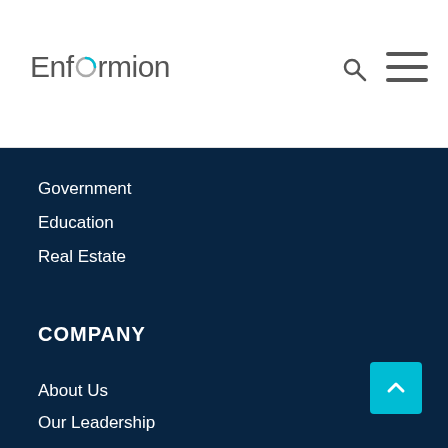Enformion
Government
Education
Real Estate
COMPANY
About Us
Our Leadership
Partnerships
News & Events
SUPPORT